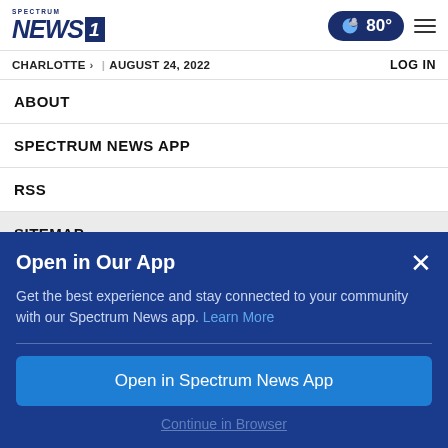SPECTRUM NEWS 1 | 80° | CHARLOTTE | AUGUST 24, 2022 | LOG IN
ABOUT
SPECTRUM NEWS APP
RSS
SITEMAP
Open in Our App
Get the best experience and stay connected to your community with our Spectrum News app. Learn More
Open in Spectrum News App
Continue in Browser